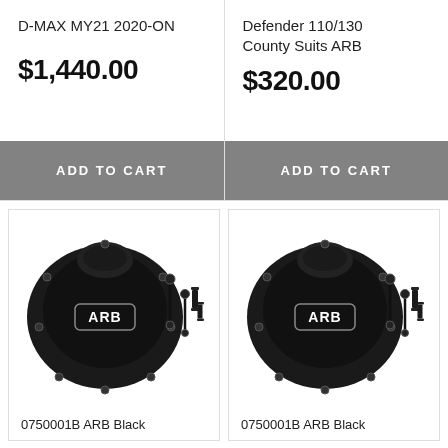D-MAX MY21 2020-ON
$1,440.00
ADD TO CART
Defender 110/130 County Suits ARB
$320.00
ADD TO CART
[Figure (photo): ARB black differential cover with bolts and accessories]
0750001B ARB Black
[Figure (photo): ARB black differential cover with bolts and accessories]
0750001B ARB Black